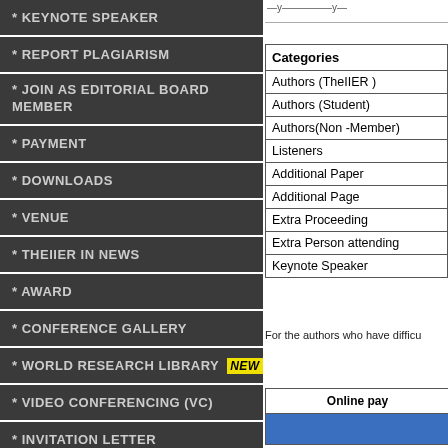* KEYNOTE SPEAKER
* REPORT PLAGIARISM
* JOIN AS EDITORIAL BOARD MEMBER
* PAYMENT
* DOWNLOADS
* VENUE
* THEIIER IN NEWS
* AWARD
* CONFERENCE GALLERY
* WORLD RESEARCH LIBRARY NEW
* VIDEO CONFERENCING (VC)
* INVITATION LETTER
| Categories |
| --- |
| Authors (TheIIER ) |
| Authors (Student) |
| Authors(Non -Member) |
| Listeners |
| Additional Paper |
| Additional Page |
| Extra Proceeding |
| Extra Person attending |
| Keynote Speaker |
For the authors who have difficu
| Online pay |
| --- |
|  |